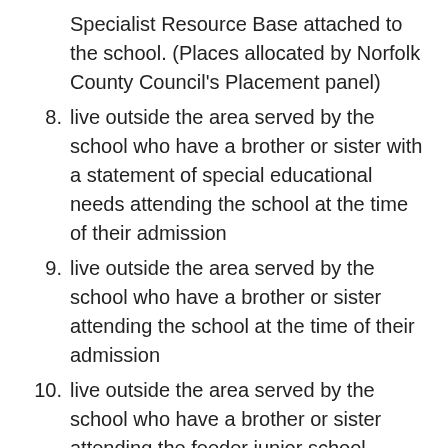Specialist Resource Base attached to the school. (Places allocated by Norfolk County Council's Placement panel)
8. live outside the area served by the school who have a brother or sister with a statement of special educational needs attending the school at the time of their admission
9. live outside the area served by the school who have a brother or sister attending the school at the time of their admission
10. live outside the area served by the school who have a brother or sister attending the feeder junior school
11. have a disability and live outside the area